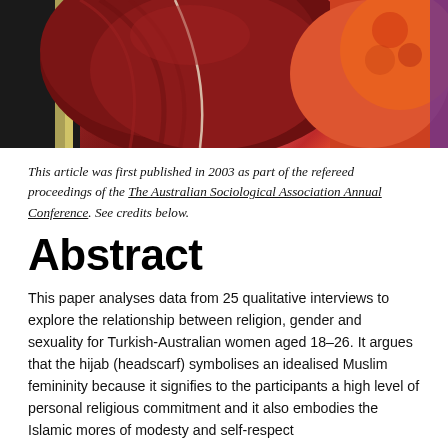[Figure (photo): Close-up photograph of colorful fabric/clothing including dark red/maroon and orange garments, possibly women wearing headscarves]
This article was first published in 2003 as part of the refereed proceedings of the The Australian Sociological Association Annual Conference. See credits below.
Abstract
This paper analyses data from 25 qualitative interviews to explore the relationship between religion, gender and sexuality for Turkish-Australian women aged 18-26. It argues that the hijab (headscarf) symbolises an idealised Muslim femininity be-cause it signifies to the participants a high level of personal religious commitment and it also embodies the Islamic mores of modesty and self-respect